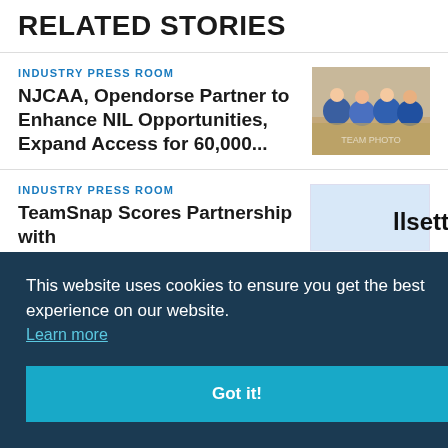RELATED STORIES
INDUSTRY PRESS ROOM
NJCAA, Opendorse Partner to Enhance NIL Opportunities, Expand Access for 60,000...
[Figure (photo): Basketball team group photo, players in blue and white uniforms]
INDUSTRY PRESS ROOM
TeamSnap Scores Partnership with
[Figure (photo): Partial image visible, light blue background]
This website uses cookies to ensure you get the best experience on our website. Learn more
Got it!
[Figure (photo): Partial sports arena/event photo visible in bottom right]